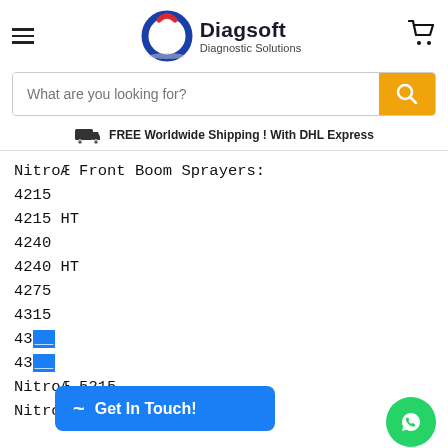[Figure (logo): Diagsoft Diagnostic Solutions logo with circular power icon in blue and red]
What are you looking for?
FREE Worldwide Shipping ! With DHL Express
NitroÆ Front Boom Sprayers:
4215
4215 HT
4240
4240 HT
4275
4315
43...
43...
NitroÆ 5215
NitroÆ 5225
[Figure (screenshot): Blue Get In Touch popup button with chat icon]
[Figure (screenshot): Green WhatsApp GetButton circle icon]